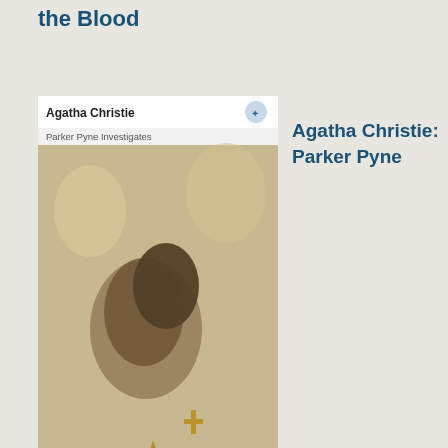the Blood
[Figure (photo): Book cover of Agatha Christie: Parker Pyne Investigates, showing jewelry items on a patterned background]
Agatha Christie: Parker Pyne Investigates
[Figure (photo): Book cover of Heidi: Lessons at Home and Abroad by Johanna Spyri, showing Heidi with animals in alpine setting]
Johanna Spyri: Heidi: Lessons at Home and Abroad
[Figure (photo): Book cover of Jacob's Room by Susan Hill, dark green background with decorative elements]
Susan Hill:
up
ove
anc
ove
aga

The
Wir
of
Em
wa:
writ
by
Vic
wh(
she
wa:
just
21.
Acc
to
Fid
It
"tel